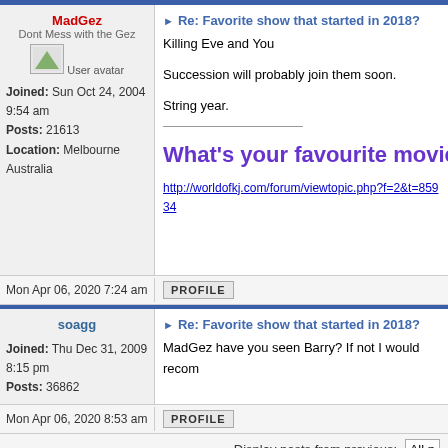MadGez
Dont Mess with the Gez
Joined: Sun Oct 24, 2004 9:54 am
Posts: 21613
Location: Melbourne Australia
Re: Favorite show that started in 2018?
Killing Eve and You

Succession will probably join them soon.

String year.
What's your favourite movie
http://worldofkj.com/forum/viewtopic.php?f=2&t=85934
Mon Apr 06, 2020 7:24 am
PROFILE
soagg
Joined: Thu Dec 31, 2009 8:15 pm
Posts: 36862
Re: Favorite show that started in 2018?
MadGez have you seen Barry? If not I would recom
Mon Apr 06, 2020 8:53 am
PROFILE
Display posts from previous:
All p
Post Reply   Page 1 of 1  [ 15 posts ]